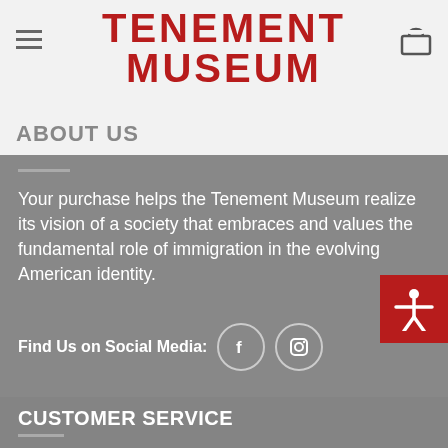TENEMENT MUSEUM
ABOUT US
Your purchase helps the Tenement Museum realize its vision of a society that embraces and values the fundamental role of immigration in the evolving American identity.
Find Us on Social Media:
[Figure (illustration): Accessibility icon button - red square with white human figure with arms extended]
CUSTOMER SERVICE
Track your order
Shipping
Returns & Exchange